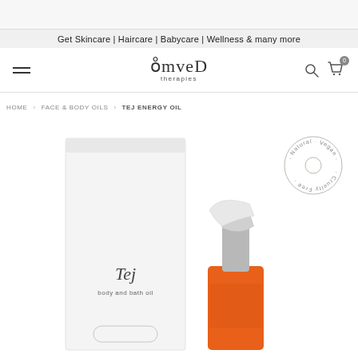Get Skincare | Haircare | Babycare | Wellness & many more
[Figure (logo): Omved Therapies logo with hamburger menu, search icon, and cart icon]
HOME › FACE & BODY OILS › TEJ ENERGY OIL
[Figure (photo): Tej body and bath oil product photo showing white box packaging and orange pump bottle with silver cap]
[Figure (other): Natural . Vegan . Cruelty Free circular badge stamp]